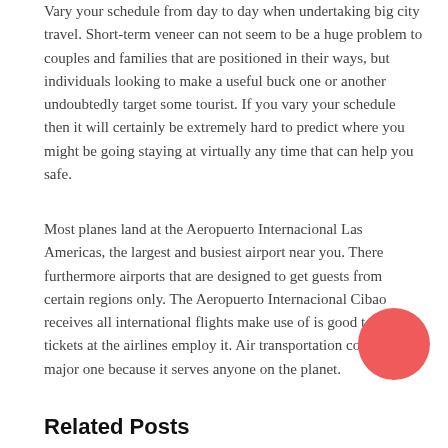Vary your schedule from day to day when undertaking big city travel. Short-term veneer can not seem to be a huge problem to couples and families that are positioned in their ways, but individuals looking to make a useful buck one or another undoubtedly target some tourist. If you vary your schedule then it will certainly be extremely hard to predict where you might be going staying at virtually any time that can help you safe.
Most planes land at the Aeropuerto Internacional Las Americas, the largest and busiest airport near you. There furthermore airports that are designed to get guests from certain regions only. The Aeropuerto Internacional Cibao receives all international flights make use of is good to buy tickets at the airlines employ it. Air transportation could be the major one because it serves anyone on the planet.
[Figure (illustration): A solid coral/salmon-colored circle in the lower right area of the page.]
Related Posts